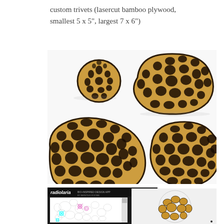custom trivets (lasercut bamboo plywood, smallest 5 x 5", largest 7 x 6")
[Figure (photo): Four lasercut bamboo plywood trivets with organic cell-like patterns inspired by radiolaria, arranged on white background. Sizes range from smallest (top-left) to largest (bottom, two large pieces). The pieces have intricate honeycomb/voronoi cutout designs burned dark at the edges.]
[Figure (screenshot): Screenshot of the Radiolaria bio-inspired design app by Nervous System. Left panel shows a white design workspace with thin line drawings of radiolarian cell patterns with cyan and pink/magenta colored seed points. Right panel shows a 3D preview of the resulting lasercut pattern in warm brown wood color.]